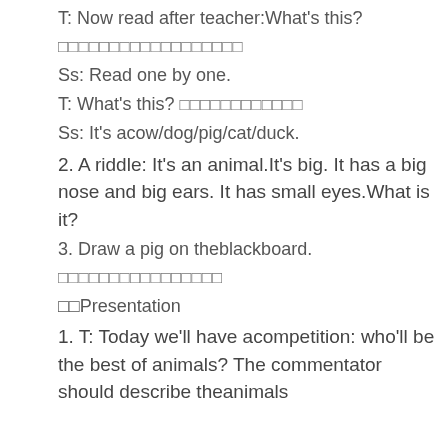T: Now read after teacher:What's this?
□□□□□□□□□□□□□□□□□□
Ss: Read one by one.
T: What's this? □□□□□□□□□□□□
Ss: It's acow/dog/pig/cat/duck.
2. A riddle: It's an animal.It's big. It has a big nose and big ears. It has small eyes.What is it?
3. Draw a pig on theblackboard.
□□□□□□□□□□□□□□□□
□□Presentation
1. T: Today we'll have acompetition: who'll be the best of animals? The commentator should describe theanimals